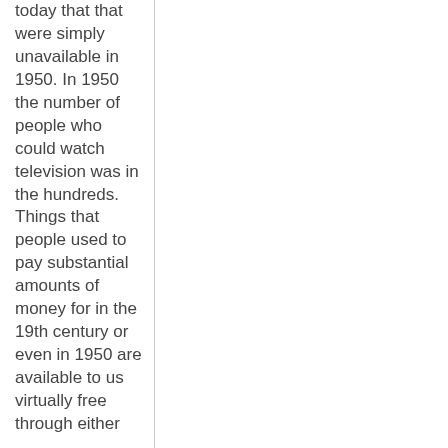today that that were simply unavailable in 1950. In 1950 the number of people who could watch television was in the hundreds. Things that people used to pay substantial amounts of money for in the 19th century or even in 1950 are available to us virtually free through either